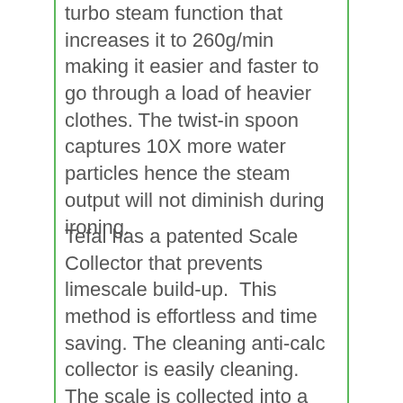turbo steam function that increases it to 260g/min making it easier and faster to go through a load of heavier clothes. The twist-in spoon captures 10X more water particles hence the steam output will not diminish during ironing.
Tefal has a patented Scale Collector that prevents limescale build-up. This method is effortless and time saving. The cleaning anti-calc collector is easily cleaning. The scale is collected into a lump